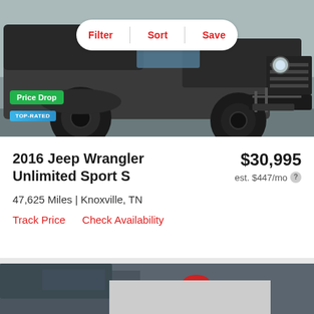[Figure (photo): Photo of a 2016 Jeep Wrangler Unlimited Sport S in dark gray/black color, viewed from the front-left angle, showing large off-road tires and front grille. A Filter/Sort/Save toolbar overlay appears at the top, and a Price Drop badge and Top-Rated badge appear at the bottom-left of the image.]
2016 Jeep Wrangler Unlimited Sport S
$30,995
est. $447/mo
47,625 Miles | Knoxville, TN
Track Price   Check Availability
[Figure (photo): Partial view of a second car listing at the bottom of the page, partially obscured by a gray loading overlay and a heart/save icon in the top-right.]